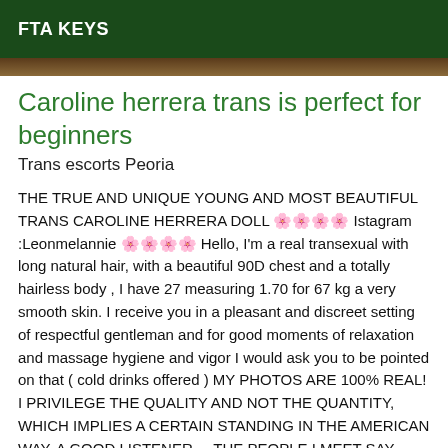FTA KEYS
Caroline herrera trans is perfect for beginners
Trans escorts Peoria
THE TRUE AND UNIQUE YOUNG AND MOST BEAUTIFUL TRANS CAROLINE HERRERA DOLL 🌸🌸🌸🌸 Istagram :Leonmelannie 🌸🌸🌸🌸 Hello, I'm a real transexual with long natural hair, with a beautiful 90D chest and a totally hairless body , I have 27 measuring 1.70 for 67 kg a very smooth skin. I receive you in a pleasant and discreet setting of respectful gentleman and for good moments of relaxation and massage hygiene and vigor I would ask you to be pointed on that ( cold drinks offered ) MY PHOTOS ARE 100% REAL! I PRIVILEGE THE QUALITY AND NOT THE QUANTITY, WHICH IMPLIES A CERTAIN STANDING IN THE AMERICAN WAY. A GOOD LISTENER ... THE PEOPLE I MEET SAY THAT